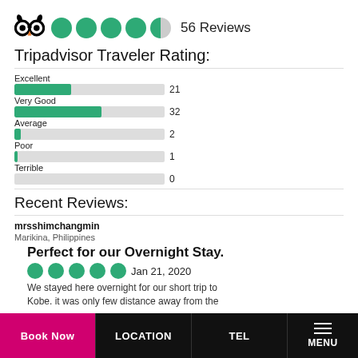[Figure (infographic): TripAdvisor owl logo with 4.5 green bubble rating circles and '56 Reviews' text]
Tripadvisor Traveler Rating:
[Figure (bar-chart): Tripadvisor Rating Breakdown]
Recent Reviews:
mrsshimchangmin
Marikina, Philippines
Perfect for our Overnight Stay.
Jan 21, 2020
We stayed here overnight for our short trip to Kobe. it was only few distance away from the
Book Now   LOCATION   TEL   MENU